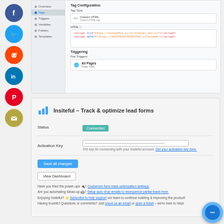[Figure (screenshot): Social media sharing sidebar with Facebook, Twitter, Reddit, LinkedIn, Pinterest, and email icons as colored circles]
[Figure (screenshot): Google Tag Manager interface showing Tag Configuration with Custom HTML tag type, HTML code with script tags, and Triggering section showing All Pages trigger]
[Figure (screenshot): Insiteful – Track & optimize lead forms plugin settings page showing Status: Connected, Activation Key field, Save all changes button, View Dashboard button, and help links at bottom]
[Figure (other): Chat support bubble in bottom right corner]